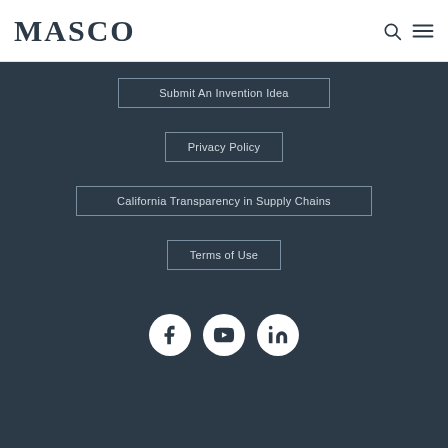MASCO
Submit An Invention Idea
Privacy Policy
California Transparency in Supply Chains
Terms of Use
[Figure (illustration): Social media icons: Facebook, YouTube, LinkedIn in white circles on dark background]